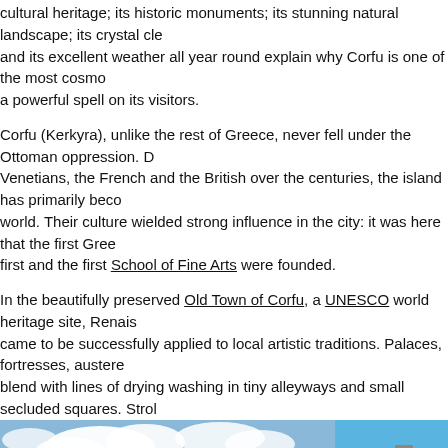cultural heritage; its historic monuments; its stunning natural landscape; its crystal clear sea and its excellent weather all year round explain why Corfu is one of the most cosmo a powerful spell on its visitors.
Corfu (Kerkyra), unlike the rest of Greece, never fell under the Ottoman oppression. Dominated by the Venetians, the French and the British over the centuries, the island has primarily become a part of the western world. Their culture wielded strong influence in the city: it was here that the first Greek opera was staged first and the first School of Fine Arts were founded.
In the beautifully preserved Old Town of Corfu, a UNESCO world heritage site, Renaissance traditions came to be successfully applied to local artistic traditions. Palaces, fortresses, austere Venetian mansions blend with lines of drying washing in tiny alleyways and small secluded squares. Strolling along the narrow streets with stairways and vaulted passages, the so-called "kantounia", will make you…
Edward Lear vividly describes the magic of Corfu: "Anything like the splendour of olive groves and the sky, the violet of the mountain, rising from peacock-wing-hued sea and tipped with li [...]".
[Figure (photo): Two photographs side by side: left shows a bright blue sky with white clouds and a distant landscape; right shows a close-up of a colorful building facade with blue sky.]
This website uses cookies to ensure you get the best experience on our website. I accept - Learn More